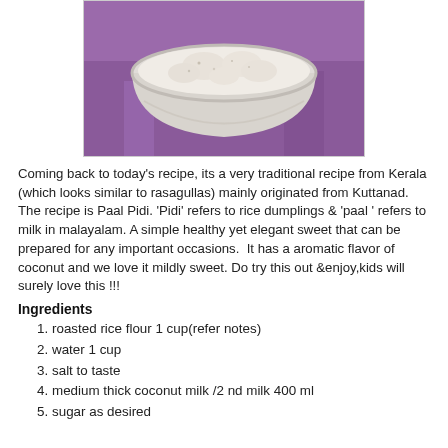[Figure (photo): A bowl of Paal Pidi (rice dumplings in coconut milk) placed on a purple background]
Coming back to today's recipe, its a very traditional recipe from Kerala (which looks similar to rasagullas) mainly originated from Kuttanad. The recipe is Paal Pidi. 'Pidi' refers to rice dumplings & 'paal ' refers to milk in malayalam. A simple healthy yet elegant sweet that can be prepared for any important occasions.  It has a aromatic flavor of coconut and we love it mildly sweet. Do try this out &enjoy,kids will surely love this !!!
Ingredients
roasted rice flour 1 cup(refer notes)
water 1 cup
salt to taste
medium thick coconut milk /2 nd milk 400 ml
sugar as desired